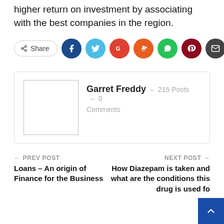higher return on investment by associating with the best companies in the region.
[Figure (infographic): Share button and social media icons row: Share button, Facebook, Twitter, Google+, Reddit, WhatsApp, Pinterest, Email]
Garret Freddy – 215 Posts – 0 Comments
← PREV POST
Loans – An origin of Finance for the Business
NEXT POST →
How Diazepam is taken and what are the conditions this drug is used fo